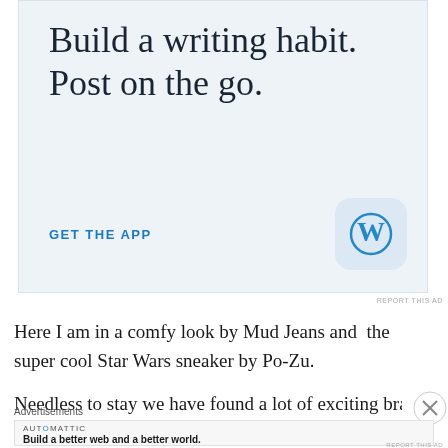[Figure (illustration): WordPress app advertisement banner with light blue background. Large serif text reads 'Build a writing habit. Post on the go.' with a blue 'GET THE APP' call-to-action link and the WordPress 'W' logo in a rounded square icon.]
REPORT THIS AD
Here I am in a comfy look by Mud Jeans and  the super cool Star Wars sneaker by Po-Zu.
Needless to stay we have found a lot of exciting brands and wi
Advertisements
[Figure (illustration): Automattic advertisement banner. Text reads 'AUTOMATTIC' in small caps with a blue 'O', then bold text 'Build a better web and a better world.']
REPORT THIS AD